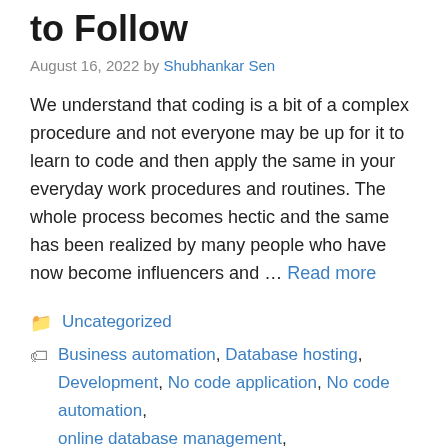to Follow
August 16, 2022 by Shubhankar Sen
We understand that coding is a bit of a complex procedure and not everyone may be up for it to learn to code and then apply the same in your everyday work procedures and routines. The whole process becomes hectic and the same has been realized by many people who have now become influencers and … Read more
Uncategorized
Business automation, Database hosting, Development, No code application, No code automation, online database management, Programming, Workman